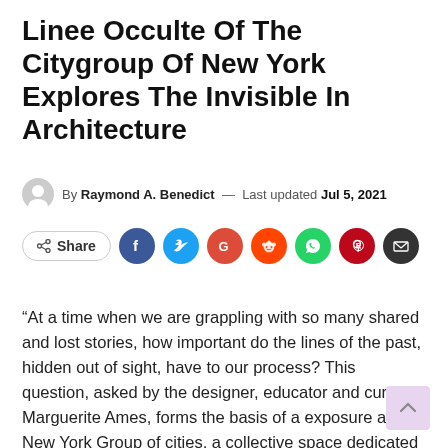Linee Occulte Of The Citygroup Of New York Explores The Invisible In Architecture
By Raymond A. Benedict — Last updated Jul 5, 2021
[Figure (infographic): Social share buttons: Share button (outlined), Facebook (blue circle), Twitter (light blue circle), Google (red circle), Reddit (orange circle), WhatsApp (green circle), Pinterest (dark red circle), Email (dark grey circle)]
"At a time when we are grappling with so many shared and lost stories, how important do the lines of the past, hidden out of sight, have to our process? This question, asked by the designer, educator and curator Marguerite Ames, forms the basis of a exposure at New York Group of cities, a collective space dedicated to questioning “the structural and cultural forces that shape the normative practices of architecture”.
Here Curator Ames...